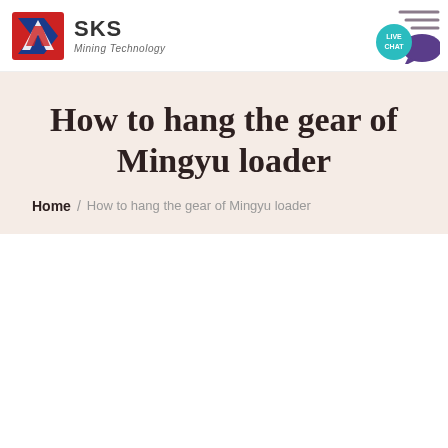[Figure (logo): SKS Mining Technology logo with red and blue shield icon and brand name]
[Figure (illustration): Live Chat bubble icon with speech bubble graphic in teal/purple]
How to hang the gear of Mingyu loader
Home / How to hang the gear of Mingyu loader
[Figure (photo): Yellow Mingyu loader machine partially visible at bottom of page]